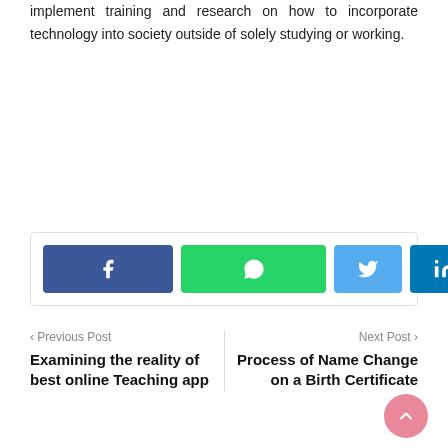implement training and research on how to incorporate technology into society outside of solely studying or working.
[Figure (infographic): Social media share buttons: Facebook (blue), WhatsApp (green), Twitter (light blue), LinkedIn (dark blue)]
< Previous Post
Examining the reality of best online Teaching app
Next Post >
Process of Name Change on a Birth Certificate